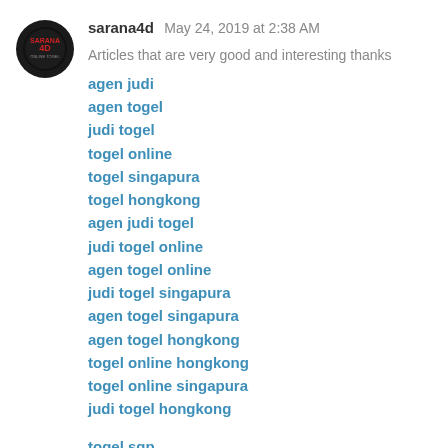sarana4d  May 24, 2019 at 2:38 AM
Articles that are very good and interesting thanks
agen judi
agen togel
judi togel
togel online
togel singapura
togel hongkong
agen judi togel
judi togel online
agen togel online
judi togel singapura
agen togel singapura
agen togel hongkong
togel online hongkong
togel online singapura
judi togel hongkong
togel sgp
togel hkg
togel sidney